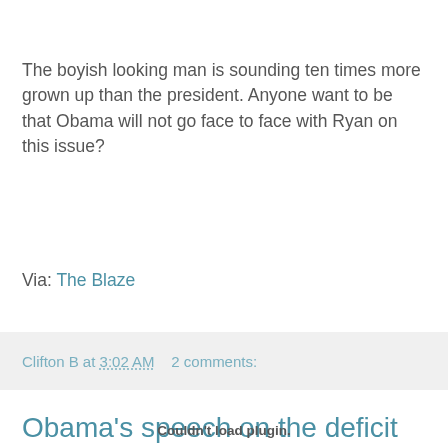The boyish looking man is sounding ten times more grown up than the president. Anyone want to be that Obama will not go face to face with Ryan on this issue?
Via: The Blaze
Clifton B at 3:02 AM    2 comments:
Obama's speech on the deficit (Video and Text)
Couldn't load plugin.